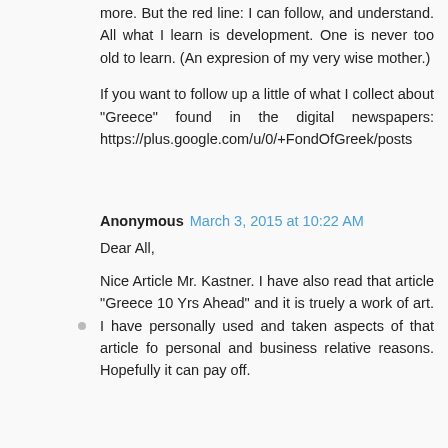more. But the red line: I can follow, and understand. All what I learn is development. One is never too old to learn. (An expresion of my very wise mother.)
If you want to follow up a little of what I collect about "Greece" found in the digital newspapers: https://plus.google.com/u/0/+FondOfGreek/posts
Anonymous March 3, 2015 at 10:22 AM
Dear All,
Nice Article Mr. Kastner. I have also read that article "Greece 10 Yrs Ahead" and it is truely a work of art. I have personally used and taken aspects of that article fo personal and business relative reasons. Hopefully it can pay off.